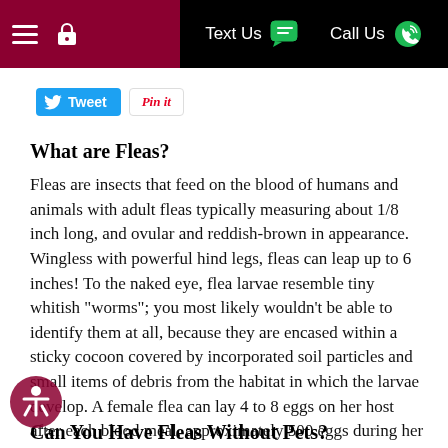≡  🔒  Text Us  Call Us
[Figure (screenshot): Tweet and Pin it social sharing buttons]
What are Fleas?
Fleas are insects that feed on the blood of humans and animals with adult fleas typically measuring about 1/8 inch long, and ovular and reddish-brown in appearance. Wingless with powerful hind legs, fleas can leap up to 6 inches! To the naked eye, flea larvae resemble tiny whitish "worms"; you most likely wouldn't be able to identify them at all, because they are encased within a sticky cocoon covered by incorporated soil particles and small items of debris from the habitat in which the larvae develop. A female flea can lay 4 to 8 eggs on her host after each blood meal, approximately 500 eggs during her lifetime. Fleas- like bed bugs- can go several months without food.
Can You Have Fleas Without Pets?